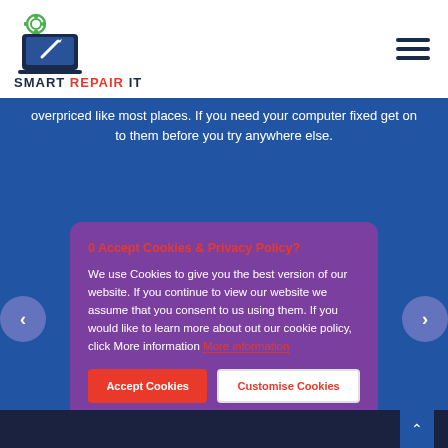[Figure (logo): Smart Repair IT logo with laptop icon and gear, text reading SMART REPAIR IT]
overpriced like most places. If you need your computer fixed get on to them before you try anywhere else.
[Figure (infographic): Cookie and Privacy Policy consent dialog box with purple background. Title: Accept Cookies & Privacy Policy? Body text about cookie usage. Links to More information. Two buttons: Accept Cookies (red) and Customise Cookies (white/outlined).]
0 Accept Cookies & Privacy Policy?
We use Cookies to give you the best version of our website. If you continue to view our website we assume that you consent to us using them. If you would like to learn more about out our cookie policy, click More information More information
Accept Cookies
Customise Cookies